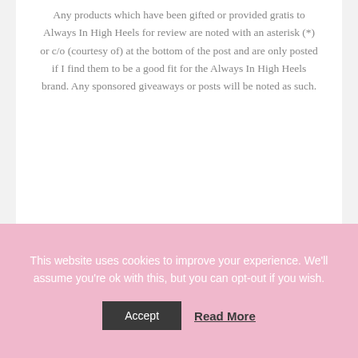Any products which have been gifted or provided gratis to Always In High Heels for review are noted with an asterisk (*) or c/o (courtesy of) at the bottom of the post and are only posted if I find them to be a good fit for the Always In High Heels brand. Any sponsored giveaways or posts will be noted as such.
This website uses cookies to improve your experience. We'll assume you're ok with this, but you can opt-out if you wish.
Accept  Read More